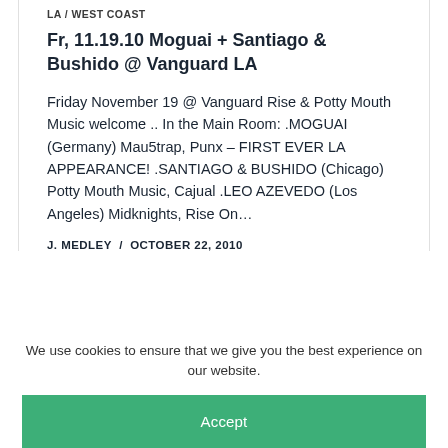LA / WEST COAST
Fr, 11.19.10 Moguai + Santiago & Bushido @ Vanguard LA
Friday November 19 @ Vanguard Rise & Potty Mouth Music welcome .. In the Main Room: .MOGUAI (Germany) Mau5trap, Punx – FIRST EVER LA APPEARANCE! .SANTIAGO & BUSHIDO (Chicago) Potty Mouth Music, Cajual .LEO AZEVEDO (Los Angeles) Midknights, Rise On…
J. MEDLEY  /  OCTOBER 22, 2010
We use cookies to ensure that we give you the best experience on our website.
Accept